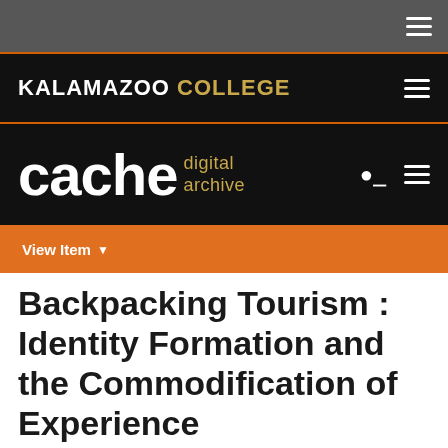Kalamazoo College — cache digital archive — navigation header
View Item
Backpacking Tourism : Identity Formation and the Commodification of Experience
[Figure (other): Thumbnail preview of document]
View/Open
Searchable PDF / Kalamazoo College Only